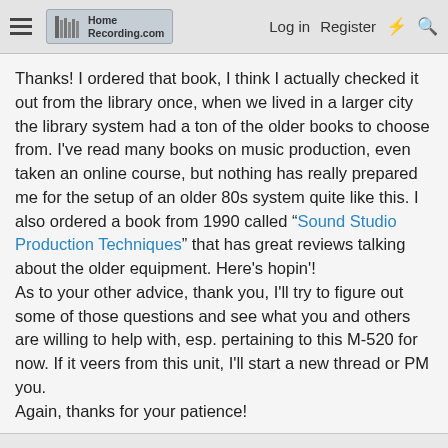HomeRecording.com — Log in  Register
Thanks! I ordered that book, I think I actually checked it out from the library once, when we lived in a larger city the library system had a ton of the older books to choose from. I've read many books on music production, even taken an online course, but nothing has really prepared me for the setup of an older 80s system quite like this. I also ordered a book from 1990 called "Sound Studio Production Techniques" that has great reviews talking about the older equipment. Here's hopin'!
As to your other advice, thank you, I'll try to figure out some of those questions and see what you and others are willing to help with, esp. pertaining to this M-520 for now. If it veers from this unit, I'll start a new thread or PM you.
Again, thanks for your patience!
flyingace
Active member